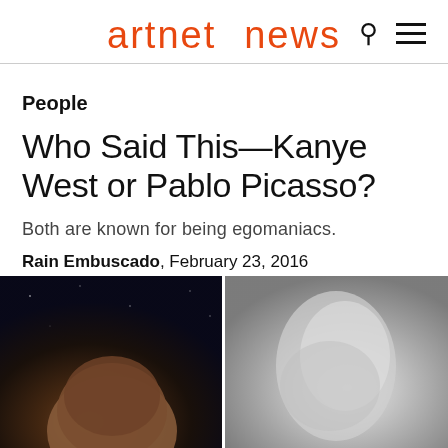artnet news
People
Who Said This—Kanye West or Pablo Picasso?
Both are known for being egomaniacs.
Rain Embuscado, February 23, 2016
[Figure (photo): Two side-by-side photos: left shows a bald head from above against a dark starry background, right shows a sculptural or black-and-white portrait of a person facing right]